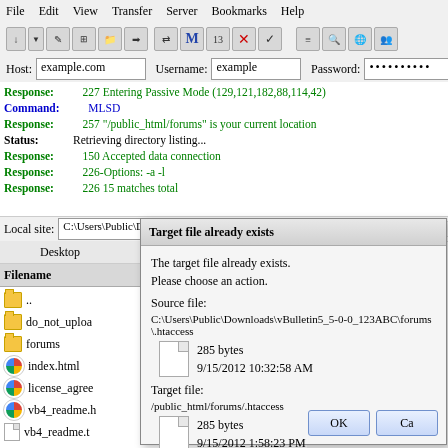[Figure (screenshot): FileZilla FTP client screenshot showing a file transfer dialog. The main window shows menu bar with File, Edit, View, Transfer, Server, Bookmarks, Help. Address bar shows Host: example.com, Username: example, Password: (hidden). Log area shows FTP responses. A 'Target file already exists' dialog is overlaying the file browser, asking the user to choose an action for uploading .htaccess file.]